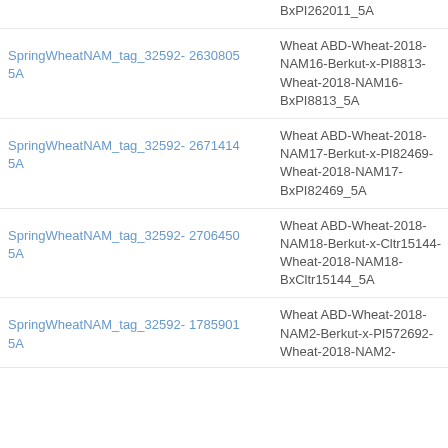| Name | Position | Map Name | Type |
| --- | --- | --- | --- |
| SpringWheatNAM_tag_32592-5A | 2630805 | Wheat ABD-Wheat-2018-NAM16-Berkut-x-PI8813-Wheat-2018-NAM16-BxPI8813_5A | Genetic |
| SpringWheatNAM_tag_32592-5A | 2671414 | Wheat ABD-Wheat-2018-NAM17-Berkut-x-PI82469-Wheat-2018-NAM17-BxPI82469_5A | Genetic |
| SpringWheatNAM_tag_32592-5A | 2706450 | Wheat ABD-Wheat-2018-NAM18-Berkut-x-Cltr15144-Wheat-2018-NAM18-BxCltr15144_5A | Genetic |
| SpringWheatNAM_tag_32592-5A | 1785901 | Wheat ABD-Wheat-2018-NAM2-Berkut-x-PI572692-Wheat-2018-NAM2- | Genetic |